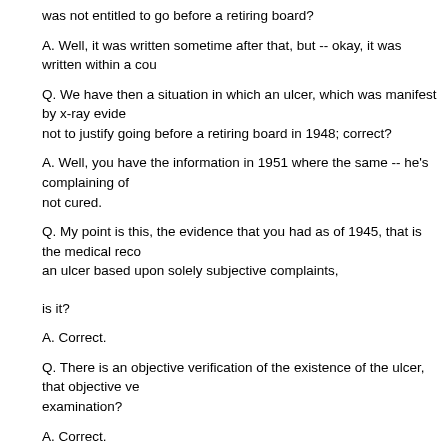was not entitled to go before a retiring board?
A. Well, it was written sometime after that, but -- okay, it was written within a cou
Q. We have then a situation in which an ulcer, which was manifest by x-ray evide not to justify going before a retiring board in 1948; correct?
A. Well, you have the information in 1951 where the same -- he's complaining of not cured.
Q. My point is this, the evidence that you had as of 1945, that is the medical reco an ulcer based upon solely subjective complaints,
is it?
A. Correct.
Q. There is an objective verification of the existence of the ulcer, that objective ve examination?
A. Correct.
Q. Okay. Now, when we move on into 1948, the middle of 1948, June 11, the boa that the defect for which the petitioner was medically surveyed, namely ulcer, du misconduct, was incurred in the line of duty, did not exist prior to his appointmen